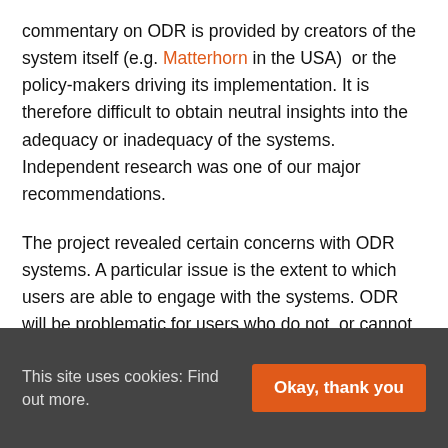commentary on ODR is provided by creators of the system itself (e.g. Matterhorn in the USA) or the policy-makers driving its implementation. It is therefore difficult to obtain neutral insights into the adequacy or inadequacy of the systems. Independent research was one of our major recommendations.
The project revealed certain concerns with ODR systems. A particular issue is the extent to which users are able to engage with the systems. ODR will be problematic for users who do not, or cannot, access a computer. It is also unclear the extent to which ODR is a quicker and cheaper mechanism for resolving disputes. If insufficient care is taken in designing ODR systems, delays could, in fact, be caused as users take time to navigate a complex IT system.
This site uses cookies: Find out more.  [Okay, thank you]